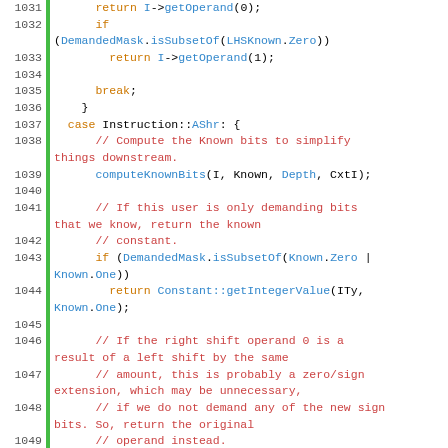[Figure (screenshot): Source code listing showing C++ code lines 1031-1055 with syntax highlighting. Line numbers in gray on left, green bar indicator, code with orange keywords, blue function/field names, red comments, and black plain text on white background.]